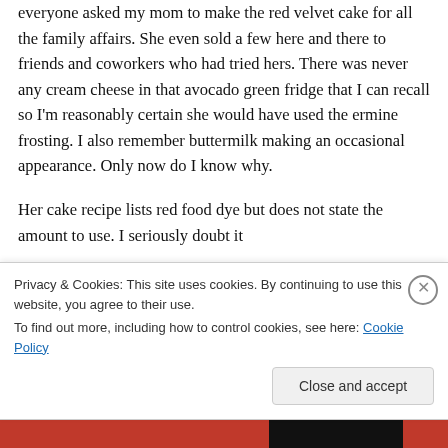everyone asked my mom to make the red velvet cake for all the family affairs. She even sold a few here and there to friends and coworkers who had tried hers. There was never any cream cheese in that avocado green fridge that I can recall so I'm reasonably certain she would have used the ermine frosting. I also remember buttermilk making an occasional appearance. Only now do I know why.
Her cake recipe lists red food dye but does not state the amount to use. I seriously doubt it
Privacy & Cookies: This site uses cookies. By continuing to use this website, you agree to their use.
To find out more, including how to control cookies, see here: Cookie Policy